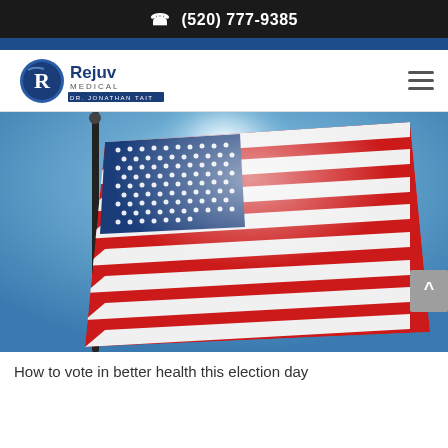(520) 777-9385
[Figure (logo): Rejuv Medical logo with circular R emblem and text 'Rejuv Medical DR. JONATHAN TAIT']
[Figure (photo): Photograph of an American flag waving against a bright blue sky, backlit by sunlight, mounted on a black flagpole]
How to vote in better health this election day